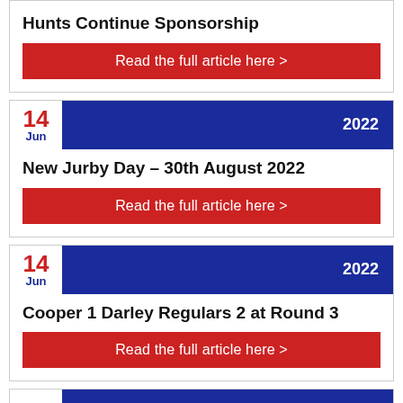Hunts Continue Sponsorship
Read the full article here >
14 Jun 2022
New Jurby Day – 30th August 2022
Read the full article here >
14 Jun 2022
Cooper 1 Darley Regulars 2 at Round 3
Read the full article here >
14 2022